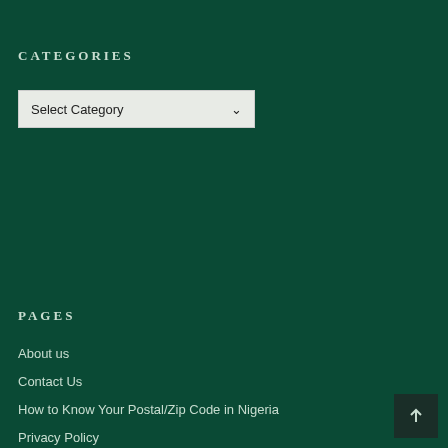CATEGORIES
[Figure (screenshot): A dropdown select box with 'Select Category' placeholder text and a downward chevron arrow, on a light grey/white background]
PAGES
About us
Contact Us
How to Know Your Postal/Zip Code in Nigeria
Privacy Policy